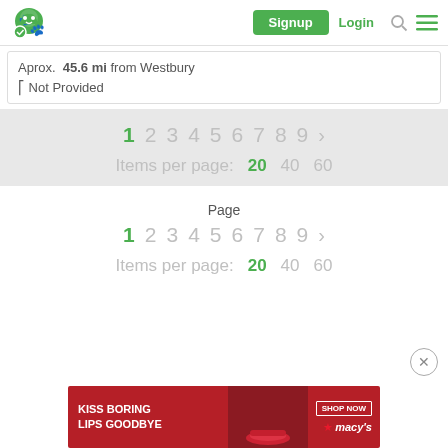Signup  Login
Aprox. 45.6 mi from Westbury
( Not Provided
1 2 3 4 5 6 7 8 9 >  Items per page: 20  40  60
Page
1 2 3 4 5 6 7 8 9 >  Items per page: 20  40  60
[Figure (screenshot): Macy's advertisement banner: KISS BORING LIPS GOODBYE with SHOP NOW button and Macy's logo]